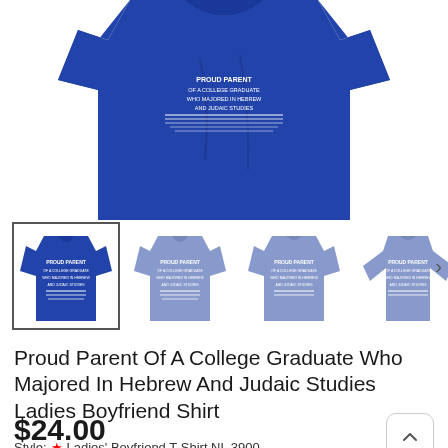[Figure (photo): Main product photo of a royal blue ladies boyfriend t-shirt with white text on the front, shown folded/draped against white background]
[Figure (photo): Thumbnail row showing 4 shirt variants: 1) selected dark blue ladies boyfriend shirt front, 2) light blue shirt front, 3) light blue shirt back, 4) light blue long-sleeve shirt back. With right-arrow navigation button.]
Proud Parent Of A College Graduate Who Majored In Hebrew And Judaic Studies Ladies Boyfriend Shirt
$24.00
Style: * Ladies' Boyfriend T-Shirt NL 3900